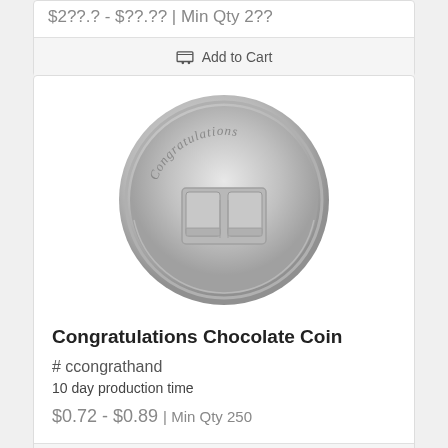$2.?? - $?.?? | Min Qty 2??
Add to Cart
[Figure (photo): Silver chocolate coin with 'Congratulations' text and a handshake embossed on it]
Congratulations Chocolate Coin
# ccongrathand
10 day production time
$0.72 - $0.89 | Min Qty 250
Add to Cart